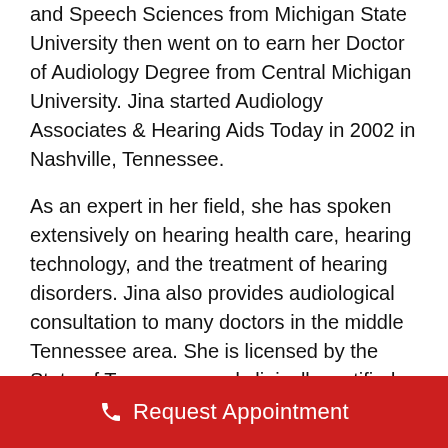and Speech Sciences from Michigan State University then went on to earn her Doctor of Audiology Degree from Central Michigan University. Jina started Audiology Associates & Hearing Aids Today in 2002 in Nashville, Tennessee.
As an expert in her field, she has spoken extensively on hearing health care, hearing technology, and the treatment of hearing disorders. Jina also provides audiological consultation to many doctors in the middle Tennessee area. She is licensed by the State of Tennessee and clinically certified by the American Speech-Language-Hearing Association (ASHA). She also provides for additional
Request Appointment